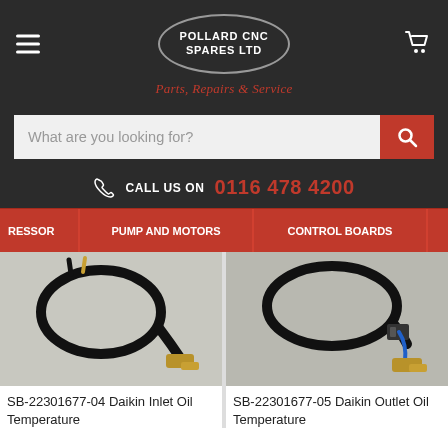[Figure (logo): Pollard CNC Spares Ltd logo oval with tagline 'Parts, Repairs & Service']
What are you looking for?
CALL US ON 0116 478 4200
RESSOR | PUMP AND MOTORS | CONTROL BOARDS
[Figure (photo): SB-22301677-04 Daikin Inlet Oil Temperature sensor with black cable and brass fitting]
[Figure (photo): SB-22301677-05 Daikin Outlet Oil Temperature sensor with black cable, blue wire and brass fitting]
SB-22301677-04 Daikin Inlet Oil Temperature
SB-22301677-05 Daikin Outlet Oil Temperature